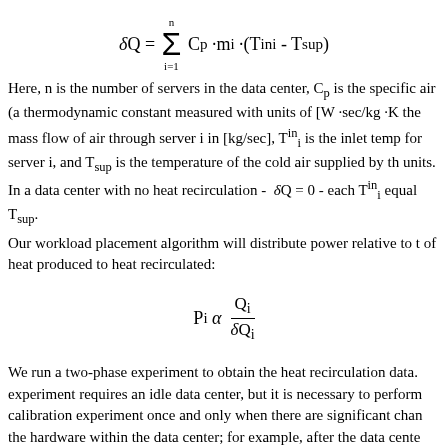Here, n is the number of servers in the data center, C_p is the specific air (a thermodynamic constant measured with units of [W·sec/kg·K]), the mass flow of air through server i in [kg/sec], T^in_i is the inlet temp for server i, and T_sup is the temperature of the cold air supplied by the units. In a data center with no heat recirculation - δQ = 0 - each T^in_i equal T_sup.
Our workload placement algorithm will distribute power relative to the of heat produced to heat recirculated:
We run a two-phase experiment to obtain the heat recirculation data. experiment requires an idle data center, but it is necessary to perform calibration experiment once and only when there are significant changes the hardware within the data center; for example, after the data center adds a new CRAC unit or adds new racks of servers. The first phase data center run a reference workload that generates a given amount of